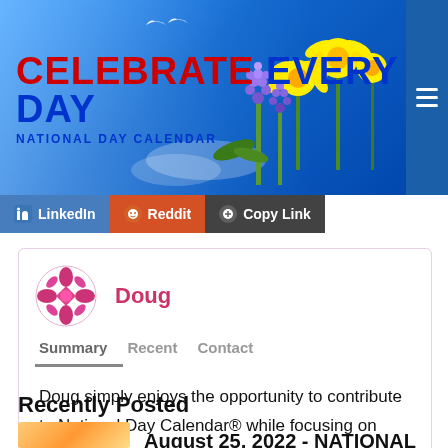[Figure (screenshot): Celebrate Every Day National Day Calendar header banner with blue sky background, spring flowers (daffodils, hyacinths), red and blue title text, and hamburger menu icon]
[Figure (screenshot): Social sharing bar with LinkedIn (blue), Reddit (orange), and Copy Link (black) buttons]
[Figure (illustration): Author profile card for Doug with pink snowflake avatar, author name Doug in pink, tabs: Summary (active), Recent, Contact, and bio text]
Doug simply enjoys the opportunity to contribute to National Day Calendar® while focusing on social media, as well as being one of the staff!
Recently Posted
August 25, 2022 - NATIONAL